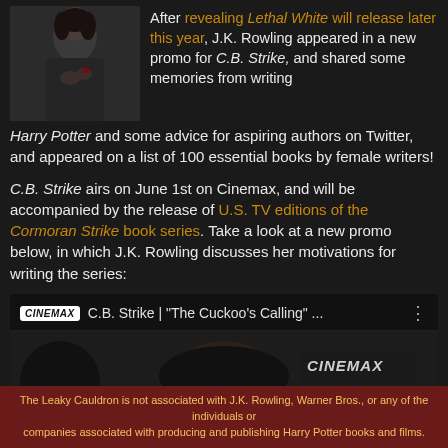After revealing Lethal White will release later this year, J.K. Rowling appeared in a new promo for C.B. Strike, and shared some memories from writing Harry Potter and some advice for aspiring authors on Twitter, and appeared on a list of 100 essential books by female writers!
C.B. Strike airs on June 1st on Cinemax, and will be accompanied by the release of U.S. TV editions of the Cormoran Strike book series. Take a look at a new promo below, in which J.K. Rowling discusses her motivations for writing the series:
[Figure (screenshot): Video thumbnail for C.B. Strike | 'The Cuckoo's Calling' ... with Cinemax branding and a partially visible person's head]
The Leaky Cauldron is not associated with J.K. Rowling, Warner Bros., or any of the individuals or companies associated with producing and publishing Harry Potter books and films.